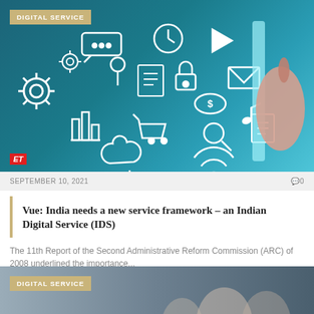[Figure (photo): Digital service concept image with white technology icons (gear, lock, cloud, wifi, chart, shopping cart, email, money, magnifier) floating on a dark teal/blue background with a hand pointing at a glowing panel. ET logo in bottom left corner. 'DIGITAL SERVICE' badge overlay in top left.]
SEPTEMBER 10, 2021
0
Vue: India needs a new service framework – an Indian Digital Service (IDS)
The 11th Report of the Second Administrative Reform Commission (ARC) of 2008 underlined the importance...
[Figure (photo): Partial image at bottom of page showing 'DIGITAL SERVICE' badge on what appears to be a person or crowd scene with grey/blue tones.]